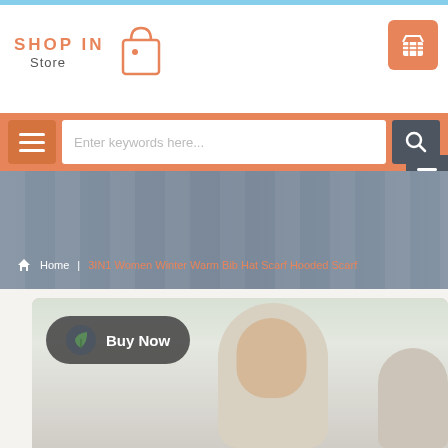[Figure (screenshot): Shop In Store e-commerce website header with orange logo, shopping bag icon, cart button, search bar with hamburger menu, and product page showing breadcrumb navigation and product image of 3IN1 Women Winter Warm Bib Hat Scarf Hooded Scarf with Buy Now button]
SHOP IN Store
Home | 3IN1 Women Winter Warm Bib Hat Scarf Hooded Scarf
Enter keywords here...
Buy Now